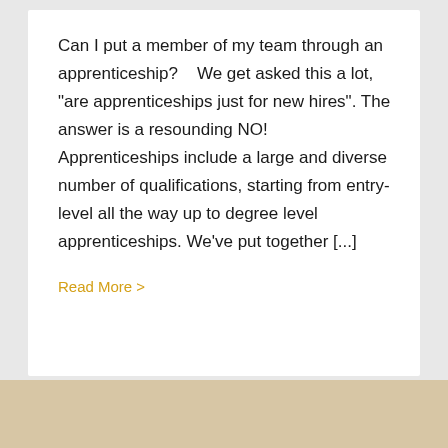Can I put a member of my team through an apprenticeship?    We get asked this a lot, "are apprenticeships just for new hires". The answer is a resounding NO! Apprenticeships include a large and diverse number of qualifications, starting from entry-level all the way up to degree level apprenticeships. We've put together [...]
Read More >